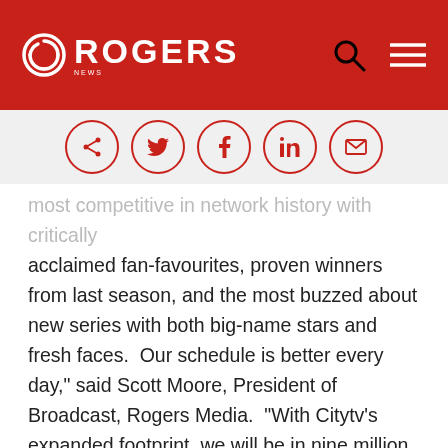ROGERS
[Figure (infographic): Social share icons in circles: share, Twitter, Facebook, LinkedIn, email]
most competitive  in network history with critically acclaimed fan-favourites, proven winners from last season, and the most buzzed about new series with both big-name stars and fresh faces.  Our schedule is better every day," said Scott Moore, President of Broadcast, Rogers Media.  "With Citytv's expanded footprint, we will be in nine million homes this fall, reaching more viewers in more homes than ever before.  And we're not done yet.  Our goal of delivering our world-class content to a national audience is firmly within our grasp."